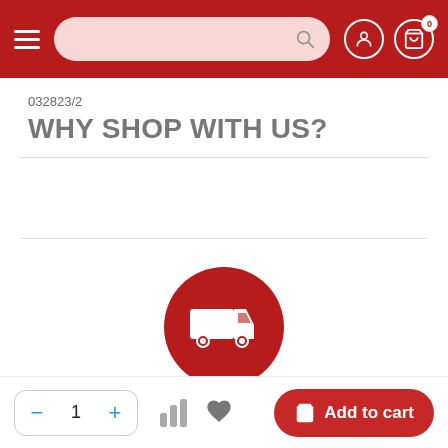Navigation bar with hamburger menu, search bar, user icon, and cart icon (0 items)
032823/2
WHY SHOP WITH US?
[Figure (illustration): Red circle with white delivery truck icon representing Fast Shipping]
Fast Shipping
We use UPS, Fedex, USPS and our sellers ship quickly and securely
Quantity selector: minus 1 plus | bar chart icon | heart icon | Add to cart button